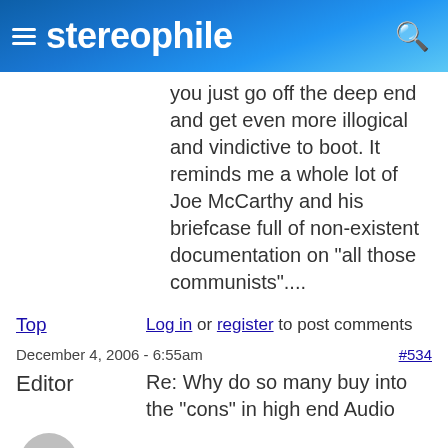stereophile
you just go off the deep end and get even more illogical and vindictive to boot. It reminds me a whole lot of Joe McCarthy and his briefcase full of non-existent documentation on "all those communists"....
Top   Log in or register to post comments
December 4, 2006 - 6:55am   #534
Editor   Re: Why do so many buy into the "cons" in high end Audio